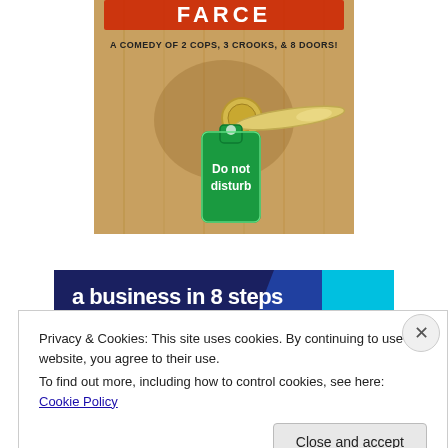[Figure (illustration): Book or play cover showing a wooden door with a gold handle and a green 'Do not disturb' hanger. Text at top reads 'A COMEDY OF 2 COPS, 3 CROOKS, & 8 DOORS!' with colorful title letters partially visible at top.]
[Figure (illustration): Dark navy blue banner/image partially visible showing text 'a business in 8 steps' in white bold letters, with a light blue geometric shape on the right side.]
Privacy & Cookies: This site uses cookies. By continuing to use this website, you agree to their use.
To find out more, including how to control cookies, see here: Cookie Policy
Close and accept